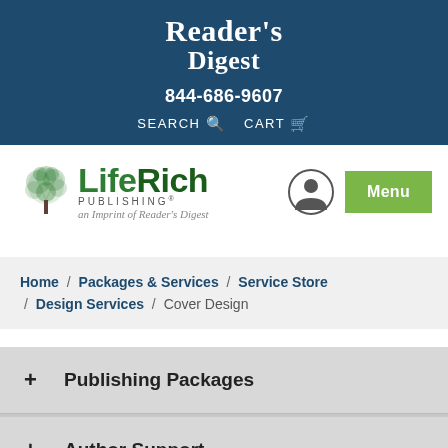Reader's Digest
844-686-9607
SEARCH   CART
[Figure (logo): LifeRich Publishing logo with tree icon, text 'LifeRich PUBLISHING an Imprint of Reader's Digest', user account icon, and green Menu button]
Home / Packages & Services / Service Store / Design Services / Cover Design
+ Publishing Packages
+ Author Support